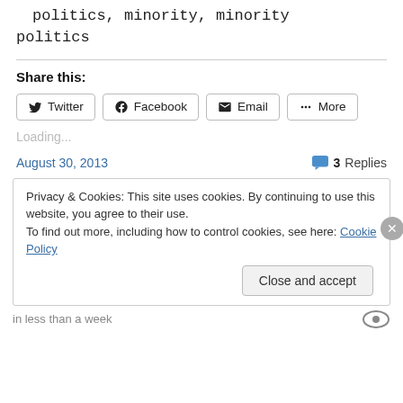politics, minority, minority politics
Share this:
Twitter  Facebook  Email  More
Loading...
August 30, 2013
3 Replies
Privacy & Cookies: This site uses cookies. By continuing to use this website, you agree to their use.
To find out more, including how to control cookies, see here: Cookie Policy
Close and accept
in less than a week